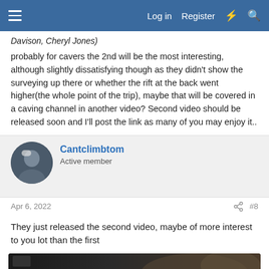Log in  Register
Davison, Cheryl Jones)
probably for cavers the 2nd will be the most interesting, although slightly dissatisfying though as they didn't show the surveying up there or whether the rift at the back went higher(the whole point of the trip), maybe that will be covered in a caving channel in another video? Second video should be released soon and I'll post the link as many of you may enjoy it..
Cantclimbtom
Active member
Apr 6, 2022   #8
They just released the second video, maybe of more interest to you lot than the first
[Figure (screenshot): Video thumbnail showing cave exploration with text 'I spent 62 HOURS exploring a 400 fo...' and 'NOT' badge overlay]